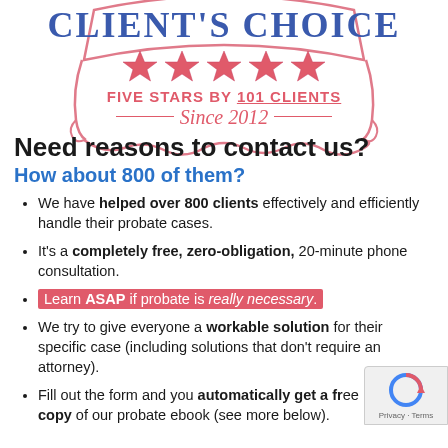[Figure (logo): Client's Choice award badge with five red stars, text 'FIVE STARS BY 101 CLIENTS' and 'Since 2012', decorative pink/red ornamental border]
Need reasons to contact us?
How about 800 of them?
We have helped over 800 clients effectively and efficiently handle their probate cases.
It's a completely free, zero-obligation, 20-minute phone consultation.
Learn ASAP if probate is really necessary.
We try to give everyone a workable solution for their specific case (including solutions that don't require an attorney).
Fill out the form and you automatically get a free copy of our probate ebook (see more below).